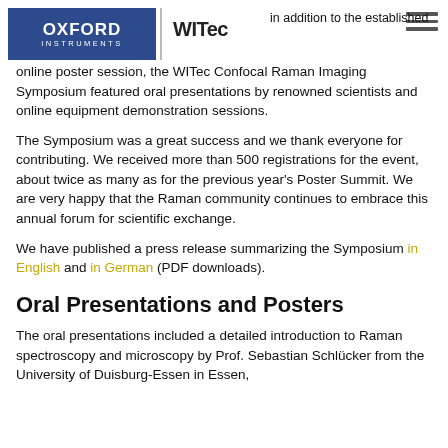[Figure (logo): Oxford Instruments blue logo on the left, vertical divider, WITec text logo on right, hamburger menu icon top right]
in addition to the established online poster session, the WITec Confocal Raman Imaging Symposium featured oral presentations by renowned scientists and online equipment demonstration sessions.
The Symposium was a great success and we thank everyone for contributing. We received more than 500 registrations for the event, about twice as many as for the previous year's Poster Summit. We are very happy that the Raman community continues to embrace this annual forum for scientific exchange.
We have published a press release summarizing the Symposium in English and in German (PDF downloads).
Oral Presentations and Posters
The oral presentations included a detailed introduction to Raman spectroscopy and microscopy by Prof. Sebastian Schlücker from the University of Duisburg-Essen in Essen,